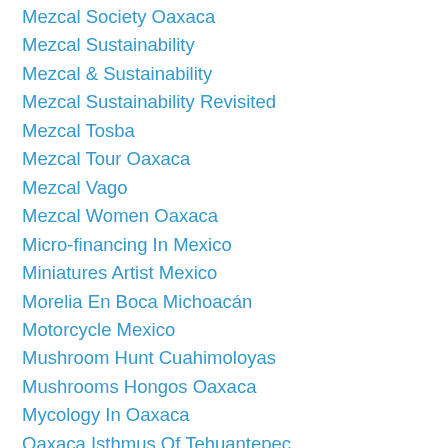Mezcal Society Oaxaca
Mezcal Sustainability
Mezcal & Sustainability
Mezcal Sustainability Revisited
Mezcal Tosba
Mezcal Tour Oaxaca
Mezcal Vago
Mezcal Women Oaxaca
Micro-financing In Mexico
Miniatures Artist Mexico
Morelia En Boca Michoacán
Motorcycle Mexico
Mushroom Hunt Cuahimoloyas
Mushrooms Hongos Oaxaca
Mycology In Oaxaca
Oaxaca Isthmus Of Tehuantepec
Oaxaca Mezcal Tour
Oaxaca Tours
Organic Produce Oaxaca
Pairing Beer & Mezcal
Pachuca Mezcal